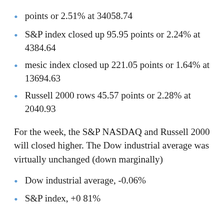points or 2.51% at 34058.74
S&P index closed up 95.95 points or 2.24% at 4384.64
mesic index closed up 221.05 points or 1.64% at 13694.63
Russell 2000 rows 45.57 points or 2.28% at 2040.93
For the week, the S&P NASDAQ and Russell 2000 will closed higher. The Dow industrial average was virtually unchanged (down marginally)
Dow industrial average, -0.06%
S&P index, +0 81%